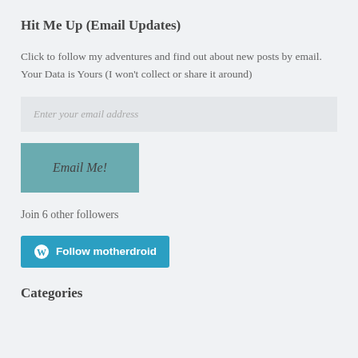Hit Me Up (Email Updates)
Click to follow my adventures and find out about new posts by email. Your Data is Yours (I won't collect or share it around)
[Figure (screenshot): Email input field with placeholder text 'Enter your email address' on a light grey background]
[Figure (screenshot): Teal button labeled 'Email Me!' in italic text]
Join 6 other followers
[Figure (screenshot): WordPress follow button with WordPress logo icon and text 'Follow motherdroid' on a blue background]
Categories